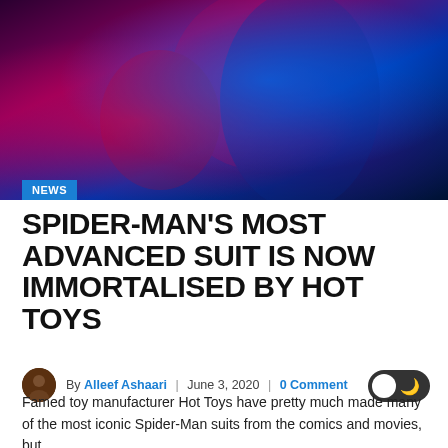[Figure (photo): Spider-Man costume figure in red and blue suit with glowing neon-lit chest emblem against dark background]
NEWS
SPIDER-MAN'S MOST ADVANCED SUIT IS NOW IMMORTALISED BY HOT TOYS
By Alleef Ashaari | June 3, 2020 | 0 Comment
Famed toy manufacturer Hot Toys have pretty much made many of the most iconic Spider-Man suits from the comics and movies, but